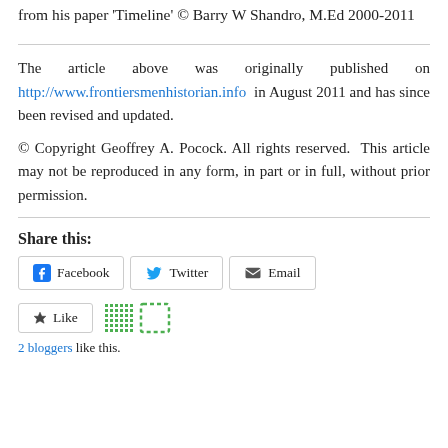from his paper  'Timeline'  © Barry W Shandro, M.Ed 2000-2011
The article above was originally published on http://www.frontiersmenhistorian.info in August 2011 and has since been revised and updated.
© Copyright Geoffrey A. Pocock. All rights reserved.  This article may not be reproduced in any form, in part or in full, without prior permission.
Share this:
Facebook  Twitter  Email
Like  [icons]  2 bloggers like this.